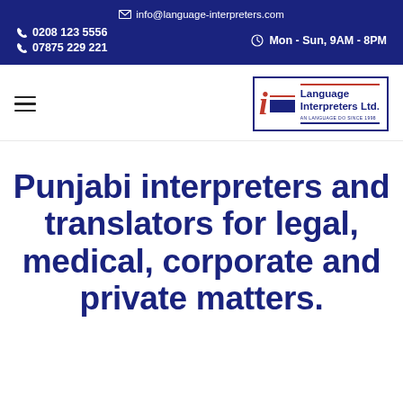✉ info@language-interpreters.com  📞 0208 123 5556  📞 07875 229 221  🕐 Mon - Sun, 9AM - 8PM
[Figure (logo): Language Interpreters Ltd. logo with red italic L letter and navy blue company name]
Punjabi interpreters and translators for legal, medical, corporate and private matters.